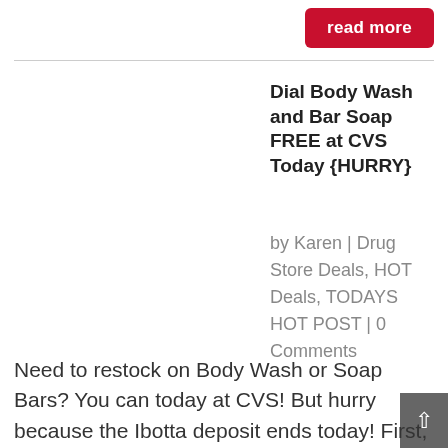[Figure (other): Red 'read more' button in top right corner]
Dial Body Wash and Bar Soap FREE at CVS Today {HURRY}
by Karen | Drug Store Deals, HOT Deals, TODAYS HOT POST | 0 Comments
Need to restock on Body Wash or Soap Bars? You can today at CVS!  But hurry because the Ibotta deposit ends today! First, print a coupon for $2.00 off two Dial Body Wash or Bar Soap. Then activate the Ibotta e coupon